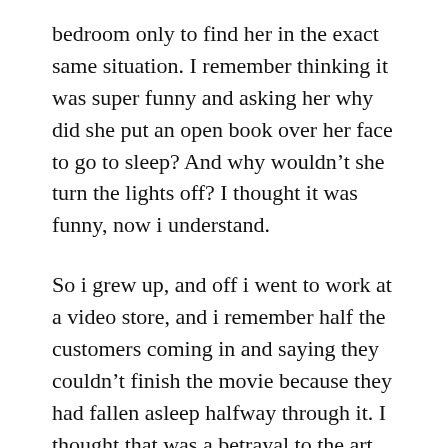bedroom only to find her in the exact same situation. I remember thinking it was super funny and asking her why did she put an open book over her face to go to sleep? And why wouldn't she turn the lights off? I thought it was funny, now i understand.
So i grew up, and off i went to work at a video store, and i remember half the customers coming in and saying they couldn't finish the movie because they had fallen asleep halfway through it. I thought that was a betrayal to the art of film making and was profoundly offended that they wouldn't finish watching the movie i recommended especially for them. It was an affront to my “talents” and it made